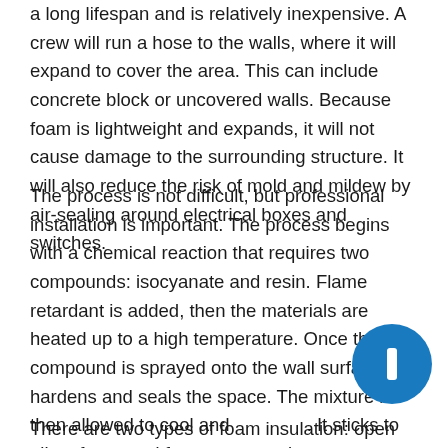a long lifespan and is relatively inexpensive. A crew will run a hose to the walls, where it will expand to cover the area. This can include concrete block or uncovered walls. Because foam is lightweight and expands, it will not cause damage to the surrounding structure. It will also reduce the risk of mold and mildew by air-sealing around electrical boxes and switches.
The process is not difficult, but professional installation is important. The process begins with a chemical reaction that requires two compounds: isocyanate and resin. Flame retardant is added, then the materials are heated up to a high temperature. Once the compound is sprayed onto the wall surface, it hardens and seals the space. The mixture is then allowed to cool and [obscured]. It sticks to all surfaces and forms a protective [obscured].
There are two types of foam insulation: open cell and
[Figure (other): A blue circular floating action button with a white rectangular/pause icon in the center, positioned in the lower right area of the page.]